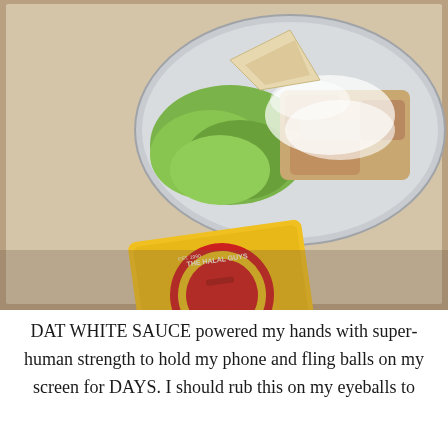[Figure (photo): A photo showing a Halal Guys food plate in an aluminum tray with lettuce, chicken, and white sauce, alongside a yellow Halal Guys White Sauce packet featuring a red circular logo with 'THE HALAL GUYS GYRO and CHICKEN EST. 1990'. The packet reads 'HALAL GUYS WHITE sauce' on a yellow and red background.]
DAT WHITE SAUCE powered my hands with superhuman strength to hold my phone and fling balls on my screen for DAYS. I should rub this on my eyeballs to